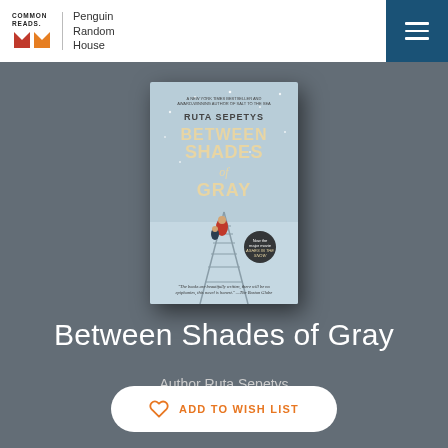Common Reads | Penguin Random House
[Figure (illustration): Book cover of 'Between Shades of Gray' by Ruta Sepetys. Light blue-gray snowy scene with two figures (adult in red coat and child) walking on train tracks. Title text in large bold gold/white letters. Quote at bottom: 'The books are beautifully written, there will be no epiphanies, this novel is honest.' — The Boston Globe]
Between Shades of Gray
Author Ruta Sepetys
ADD TO WISH LIST